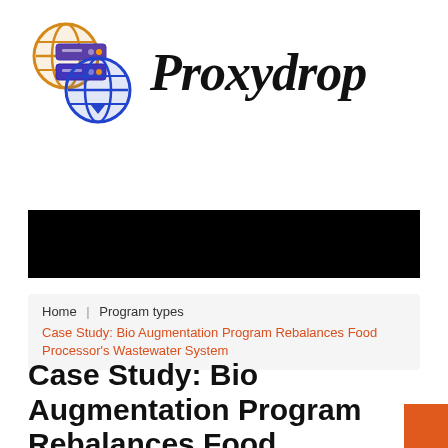[Figure (logo): Proxydrop logo: globe and server/database icon in orange and blue gradient, with the text 'Proxydrop' in bold black serif italic font]
[Figure (photo): Black banner/hero image strip across the page]
Home   Program types
Case Study: Bio Augmentation Program Rebalances Food Processor's Wastewater System
Case Study: Bio Augmentation Program Rebalances Food Processor's Wastewater System